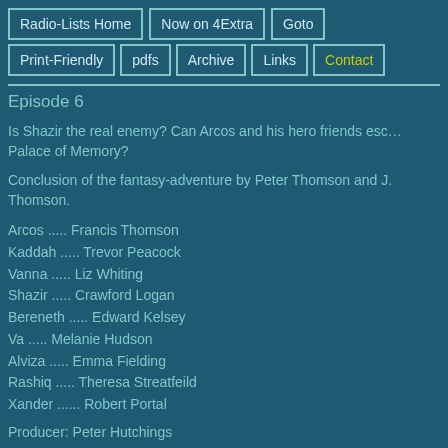Radio-Lists Home | Now on 4Extra | Goto
Print-Friendly | pdfs | Archive | Links | Contact
Episode 6
Is Shazir the real enemy? Can Arcos and his hero friends escape the Palace of Memory?
Conclusion of the fantasy-adventure by Peter Thomson and J. Thomson.
Arcos ..... Francis Thomson
Kaddah ..... Trevor Peacock
Vanna ..... Liz Whiting
Shazir ..... Crawford Logan
Bereneth ..... Edward Kelsey
Va ..... Melanie Hudson
Alviza ..... Emma Fielding
Rashiq ..... Theresa Streatfeild
Xander ...... Robert Portal
Producer: Peter Hutchings